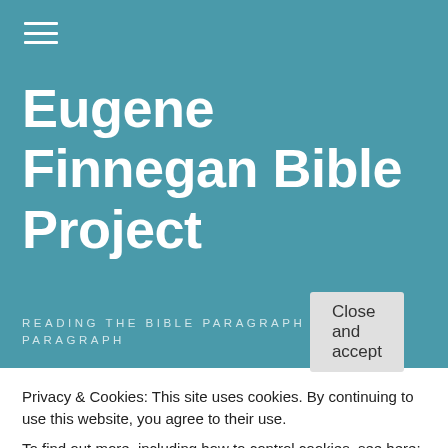≡
Eugene Finnegan Bible Project
READING THE BIBLE PARAGRAPH BY PARAGRAPH
Privacy & Cookies: This site uses cookies. By continuing to use this website, you agree to their use.
To find out more, including how to control cookies, see here: Cookie Policy
Close and accept
The praying to false idols (Wis